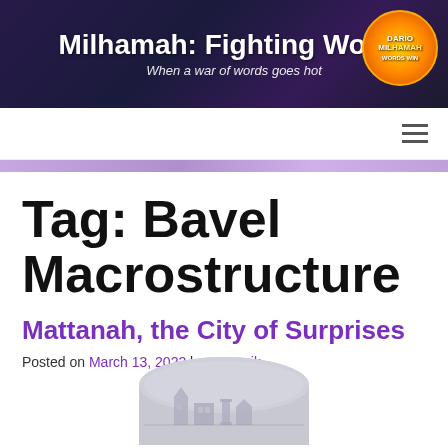Milhamah: Fighting Words — When a war of words goes hot
Tag: Bavel Macrostructure
Mattanah, the City of Surprises
Posted on March 13, 2022 by eczarnik
[Figure (photo): Stone tablet with engraved city imagery, partially visible at bottom of page]